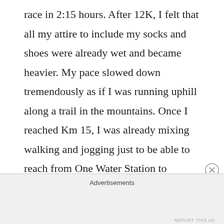race in 2:15 hours. After 12K, I felt that all my attire to include my socks and shoes were already wet and became heavier. My pace slowed down tremendously as if I was running uphill along a trail in the mountains. Once I reached Km 15, I was already mixing walking and jogging just to be able to reach from One Water Station to another for the much needed hydration to replenish my sweat. At Km 18, I was feeling the start of cramping on my calves that I had to stop jogging. And just walked until the cramping would disappear.

On the last two kilometers as it was already sunrise,
Advertisements